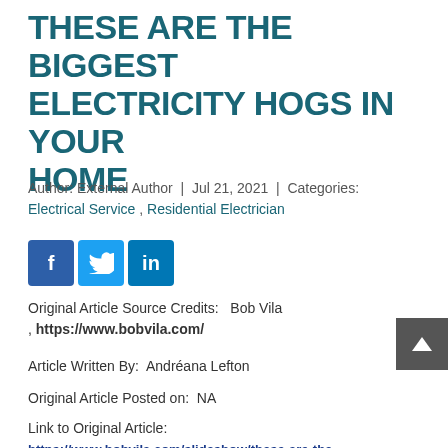THESE ARE THE BIGGEST ELECTRICITY HOGS IN YOUR HOME
Author: External Author  |  Jul 21, 2021  |  Categories: Electrical Service , Residential Electrician
[Figure (other): Social media share buttons: Facebook (f), Twitter (bird), LinkedIn (in)]
Original Article Source Credits:   Bob Vila , https://www.bobvila.com/
Article Written By:  Andréana Lefton
Original Article Posted on:  NA
Link to Original Article:
https://www.bobvila.com/slideshow/these-are-the-